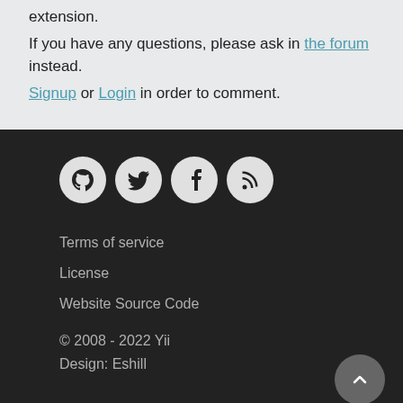extension.
If you have any questions, please ask in the forum instead.
Signup or Login in order to comment.
[Figure (other): Social media icons: GitHub, Twitter, Facebook, RSS feed]
Terms of service
License
Website Source Code
© 2008 - 2022 Yii
Design: Eshill